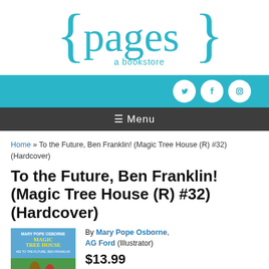[Figure (logo): {pages} a bookstore logo in teal color with curly braces]
[Figure (infographic): Teal social bar with Twitter, Facebook, and Instagram icons as white circles, followed by dark gray menu bar with hamburger menu and 'Menu' text]
Home » To the Future, Ben Franklin! (Magic Tree House (R) #32) (Hardcover)
To the Future, Ben Franklin! (Magic Tree House (R) #32) (Hardcover)
[Figure (photo): Book cover of Magic Tree House #32 To the Future, Ben Franklin! featuring children in front of a scene]
By Mary Pope Osborne, AG Ford (Illustrator)
$13.99
Other Books in